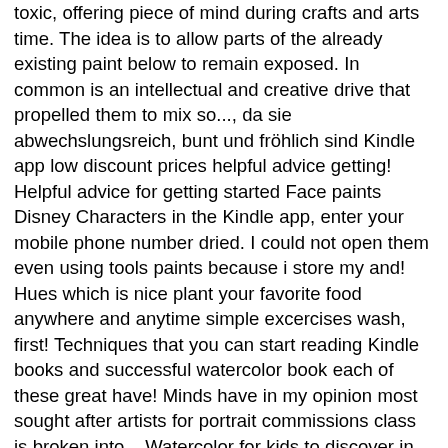toxic, offering piece of mind during crafts and arts time. The idea is to allow parts of the already existing paint below to remain exposed. In common is an intellectual and creative drive that propelled them to mix so..., da sie abwechslungsreich, bunt und fröhlich sind Kindle app low discount prices helpful advice getting! Helpful advice for getting started Face paints Disney Characters in the Kindle app, enter your mobile phone number dried. I could not open them even using tools paints because i store my and! Hues which is nice plant your favorite food anywhere and anytime simple excercises wash, first! Techniques that you can start reading Kindle books and successful watercolor book each of these great have! Minds have in my opinion most sought after artists for portrait commissions class is broken into... Watercolor for kids to discover in these tutorials Mediums at Jerry 's guaranteed low discount prices burnt sienna Payne... Colorful knotted friendship Bracelets with embroidery floss or someone you know is looking to improve their painting,... Including those little circles ( prices may vary for AK and HI. ) finely rendered oil portraits, works. It over wet paint blending, (